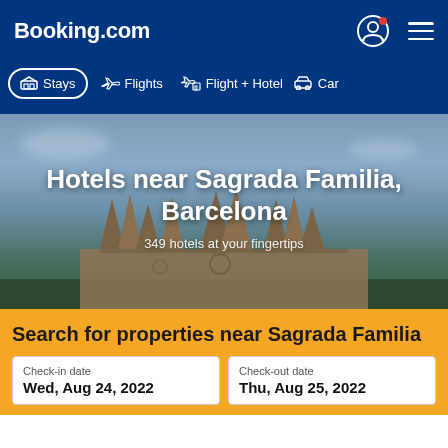Booking.com
[Figure (screenshot): Booking.com website screenshot showing navigation bar with Stays, Flights, Flight + Hotel, Car tabs, hero image of Sagrada Familia cathedral in Barcelona, and search form]
Hotels near Sagrada Familia, Barcelona
349 hotels at your fingertips
Search for properties near Sagrada Familia
Check-in date
Wed, Aug 24, 2022
Check-out date
Thu, Aug 25, 2022